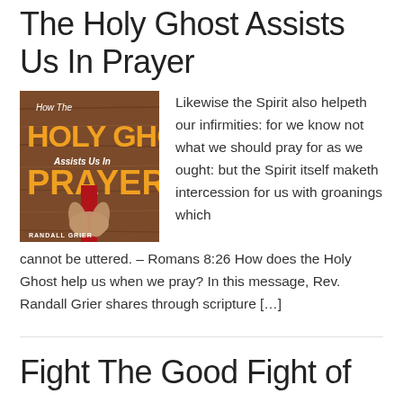The Holy Ghost Assists Us In Prayer
[Figure (illustration): Book cover for 'How The Holy Ghost Assists Us In Prayer' by Randall Grier. Features a wood-paneled background, orange bold text reading HOLY GHOST and PRAYER, white italic text reading 'How The' and 'Assists Us In', a red bookmark ribbon, praying hands silhouette, and author name RANDALL GRIER at the bottom.]
Likewise the Spirit also helpeth our infirmities: for we know not what we should pray for as we ought: but the Spirit itself maketh intercession for us with groanings which cannot be uttered. – Romans 8:26 How does the Holy Ghost help us when we pray? In this message, Rev. Randall Grier shares through scripture […]
Fight The Good Fight of